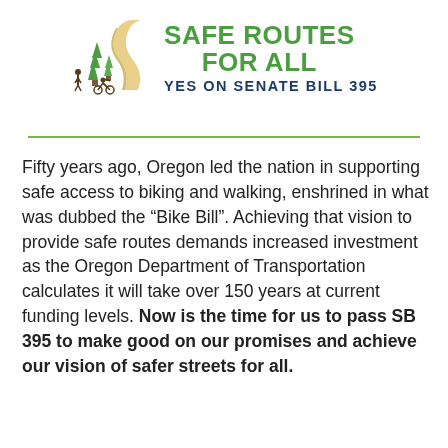[Figure (logo): Safe Routes For All logo with illustrated winding road, pine trees, and silhouettes of a person walking and a person cycling, with green text 'SAFE ROUTES FOR ALL' and dark blue text 'YES ON SENATE BILL 395']
Fifty years ago, Oregon led the nation in supporting safe access to biking and walking, enshrined in what was dubbed the “Bike Bill”. Achieving that vision to provide safe routes demands increased investment as the Oregon Department of Transportation calculates it will take over 150 years at current funding levels. Now is the time for us to pass SB 395 to make good on our promises and achieve our vision of safer streets for all.